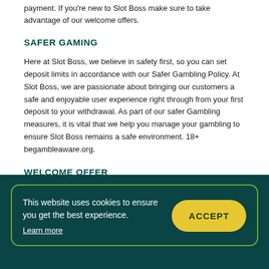payment. If you're new to Slot Boss make sure to take advantage of our welcome offers.
SAFER GAMING
Here at Slot Boss, we believe in safety first, so you can set deposit limits in accordance with our Safer Gambling Policy. At Slot Boss, we are passionate about bringing our customers a safe and enjoyable user experience right through from your first deposit to your withdrawal. As part of our safer Gambling measures, it is vital that we help you manage your gambling to ensure Slot Boss remains a safe environment. 18+ begambleaware.org.
WELCOME OFFER
Learn more about our welcome offer by clicking the link today here at Slot Boss.
This website uses cookies to ensure you get the best experience. Learn more
ACCEPT